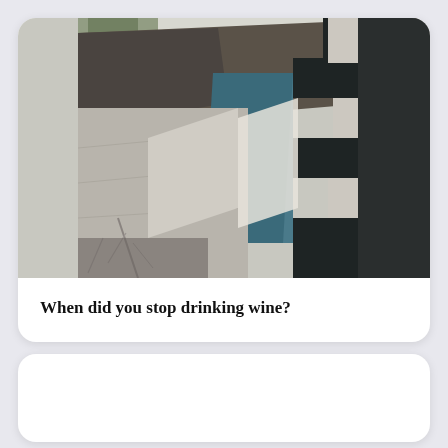[Figure (photo): Photograph of abstract architectural concrete structure with geometric shapes, dark and light panels, and a teal/blue element visible. Brutalist style building exterior with strong angular forms and contrasting shadows.]
When did you stop drinking wine?